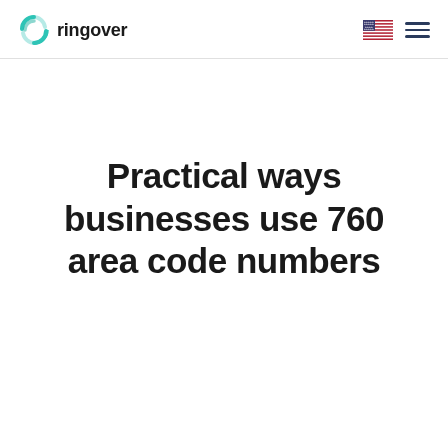ringover
Practical ways businesses use 760 area code numbers